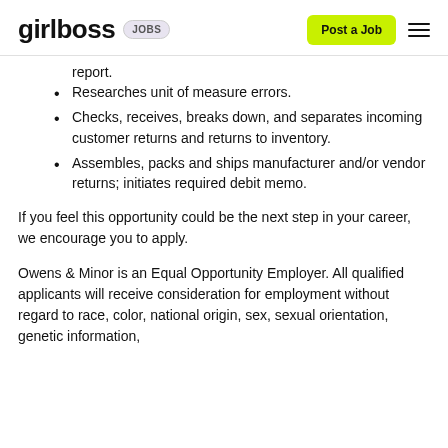girlboss JOBS | Post a Job
report.
Researches unit of measure errors.
Checks, receives, breaks down, and separates incoming customer returns and returns to inventory.
Assembles, packs and ships manufacturer and/or vendor returns; initiates required debit memo.
If you feel this opportunity could be the next step in your career, we encourage you to apply.
Owens & Minor is an Equal Opportunity Employer. All qualified applicants will receive consideration for employment without regard to race, color, national origin, sex, sexual orientation, genetic information,